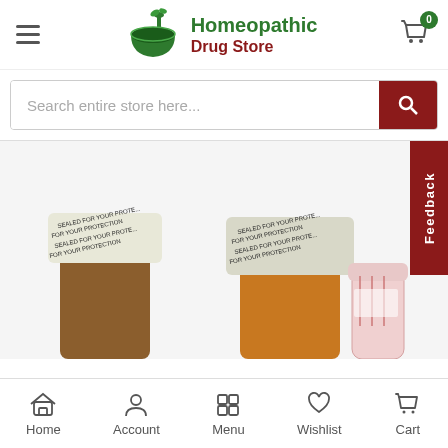[Figure (logo): Homeopathic Drug Store logo with mortar and pestle icon in green and dark red]
[Figure (screenshot): E-commerce website screenshot showing Homeopathic Drug Store with search bar, product images of sealed bottles, feedback tab, and bottom navigation bar]
Search entire store here...
Feedback
Home
Account
Menu
Wishlist
Cart